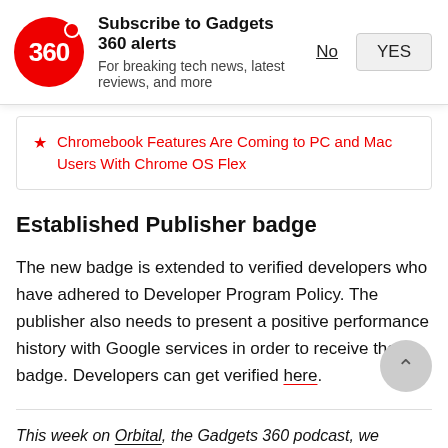[Figure (logo): Gadgets 360 red circular logo with '360' text in white]
Subscribe to Gadgets 360 alerts
For breaking tech news, latest reviews, and more
No
YES
Chromebook Features Are Coming to PC and Mac Users With Chrome OS Flex
Established Publisher badge
The new badge is extended to verified developers who have adhered to Developer Program Policy. The publisher also needs to present a positive performance history with Google services in order to receive the badge. Developers can get verified here.
This week on Orbital, the Gadgets 360 podcast, we discuss the Surface Pro 8, Go 3, Duo 2, and Laptop Studio — as